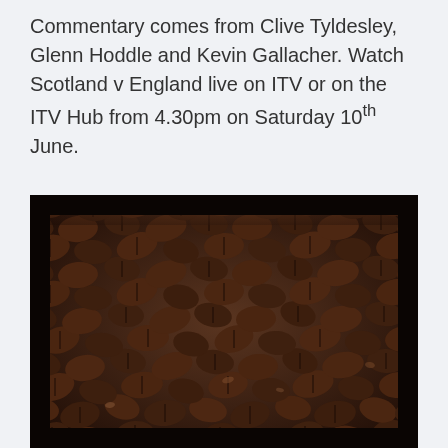Commentary comes from Clive Tyldesley, Glenn Hoddle and Kevin Gallacher. Watch Scotland v England live on ITV or on the ITV Hub from 4.30pm on Saturday 10th June.
[Figure (photo): Close-up photograph of a large pile of dark roasted coffee beans filling the entire frame.]